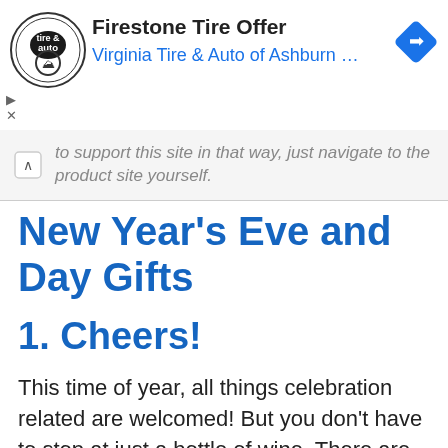[Figure (screenshot): Firestone Tire & Auto advertisement banner with logo, title 'Firestone Tire Offer', subtitle 'Virginia Tire & Auto of Ashburn ...' and a blue diamond navigation icon]
to support this site in that way, just navigate to the product site yourself.
New Year's Eve and Day Gifts
1. Cheers!
This time of year, all things celebration related are welcomed! But you don't have to stop at just a bottle of wine. There are some fun ways to take your gift to the next level!